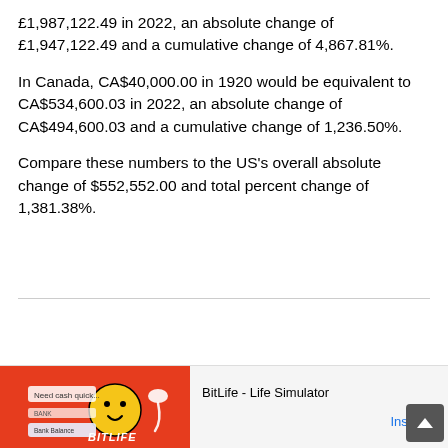£1,987,122.49 in 2022, an absolute change of £1,947,122.49 and a cumulative change of 4,867.81%.
In Canada, CA$40,000.00 in 1920 would be equivalent to CA$534,600.03 in 2022, an absolute change of CA$494,600.03 and a cumulative change of 1,236.50%.
Compare these numbers to the US's overall absolute change of $552,552.00 and total percent change of 1,381.38%.
[Figure (other): Advertisement banner for BitLife - Life Simulator mobile app with red background showing game characters and Install button]